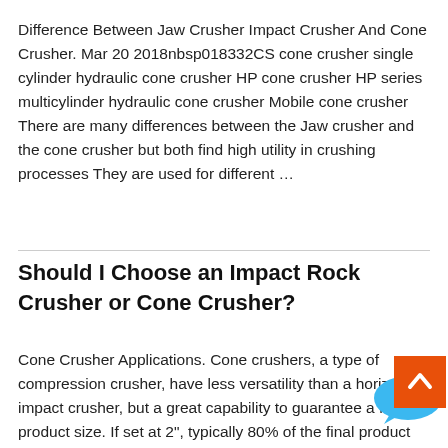Difference Between Jaw Crusher Impact Crusher And Cone Crusher. Mar 20 2018nbsp018332CS cone crusher single cylinder hydraulic cone crusher HP cone crusher HP series multicylinder hydraulic cone crusher Mobile cone crusher There are many differences between the Jaw crusher and the cone crusher but both find high utility in crushing processes They are used for different …
Should I Choose an Impact Rock Crusher or Cone Crusher?
Cone Crusher Applications. Cone crushers, a type of compression crusher, have less versatility than a horiz impact crusher, but a great capability to guarantee a finished product size. If set at 2", typically 80% of the final product will meet the 2" target which is not something that can be
[Figure (other): Live Chat speech bubble widget with blue color and white text reading 'Live Chat']
[Figure (other): Orange back-to-top button with white upward chevron arrow]